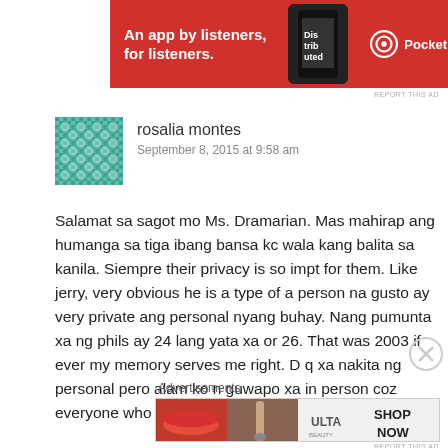[Figure (illustration): Pocket Casts advertisement banner: red background, white text 'An app by listeners, for listeners.' with phone graphic and Pocket Casts logo]
REPORT THIS AD
rosalia montes
September 8, 2015 at 9:58 am
Salamat sa sagot mo Ms. Dramarian. Mas mahirap ang humanga sa tiga ibang bansa kc wala kang balita sa kanila. Siempre their privacy is so impt for them. Like jerry, very obvious he is a type of a person na gusto ay very private ang personal nyang buhay. Nang pumunta xa ng phils ay 24 lang yata xa or 26. That was 2003 if ever my memory serves me right. D q xa nakita ng personal pero alam ko n guwapo xa in person coz everyone who saw him in person told that. And
Advertisements
[Figure (illustration): ULTA beauty advertisement banner showing makeup product images, lips, eye, and 'SHOP NOW' text]
REPORT THIS AD